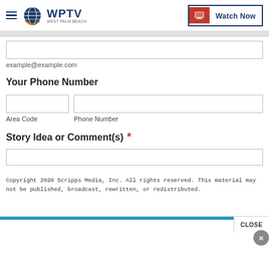WPTV West Palm Beach — Watch Now
example@example.com
Your Phone Number
Area Code    Phone Number
Story Idea or Comment(s) *
Copyright 2020 Scripps Media, Inc. All rights reserved. This material may not be published, broadcast, rewritten, or redistributed.
CLOSE ×